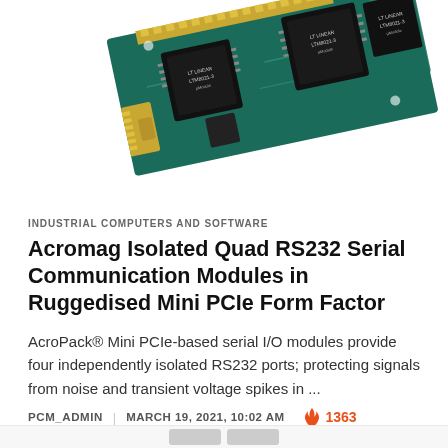[Figure (photo): Green PCB circuit board module (Acromag AcroPack Mini PCIe) with multiple IC chips and gold edge connectors, shown at an angle on a white background.]
INDUSTRIAL COMPUTERS AND SOFTWARE
Acromag Isolated Quad RS232 Serial Communication Modules in Ruggedised Mini PCIe Form Factor
AcroPack® Mini PCIe-based serial I/O modules provide four independently isolated RS232 ports; protecting signals from noise and transient voltage spikes in ...
PCM_ADMIN  |  MARCH 19, 2021, 10:02 AM   🔥 1363